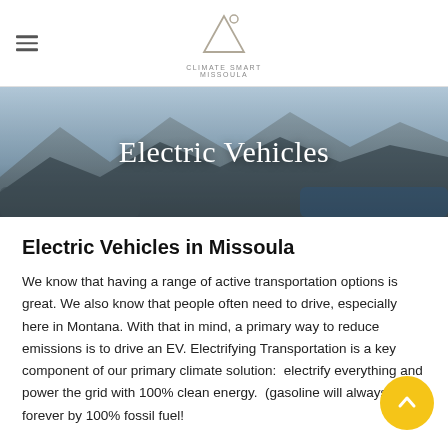Climate Smart Missoula — navigation bar with logo
[Figure (photo): Hero banner image of electric vehicles with mountain background, text overlay reading 'Electric Vehicles']
Electric Vehicles
Electric Vehicles in Missoula
We know that having a range of active transportation options is great. We also know that people often need to drive, especially here in Montana. With that in mind, a primary way to reduce emissions is to drive an EV. Electrifying Transportation is a key component of our primary climate solution:  electrify everything and power the grid with 100% clean energy.  (gasoline will always and forever by 100% fossil fuel!